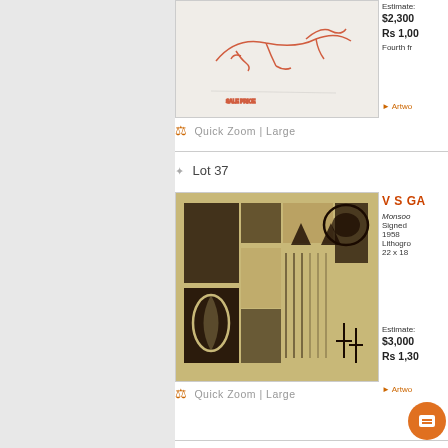[Figure (photo): Partial view of artwork for lot 36 - red/orange sketch of a bird or figure on light background]
Quick Zoom | Large
Estimate:
$2,300
Rs 1,00
Fourth fr
► Artwo
✦ Lot 37
V S GA
Monsoo
Signed
1958
Lithogrо
22 x 18
[Figure (photo): Lithograph artwork for Lot 37 - abstract geometric shapes, black and dark brown on beige/tan background, 1958]
Quick Zoom | Large
Estimate:
$3,000
Rs 1,30
► Artwo